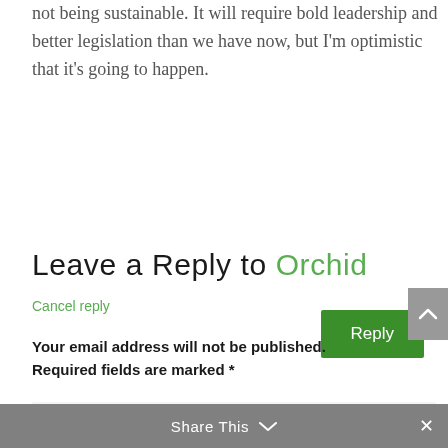not being sustainable. It will require bold leadership and better legislation than we have now, but I'm optimistic that it's going to happen.
Reply
Leave a Reply to Orchid
Cancel reply
Your email address will not be published. Required fields are marked *
Comment
Share This  ×